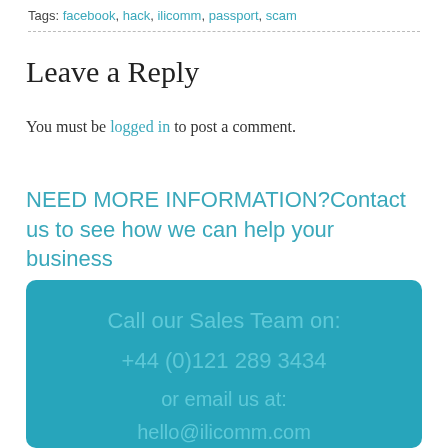Tags: facebook, hack, ilicomm, passport, scam
Leave a Reply
You must be logged in to post a comment.
NEED MORE INFORMATION?Contact us to see how we can help your business
Call our Sales Team on:
+44 (0)121 289 3434
or email us at:
hello@ilicomm.com